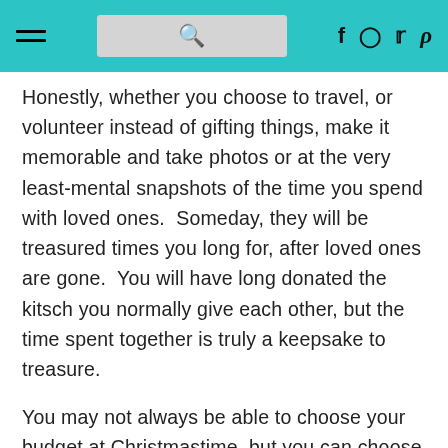[Navigation header with hamburger menu, search bar, and social icons: f, camera, bird/twitter, p/pinterest]
Honestly, whether you choose to travel, or volunteer instead of gifting things, make it memorable and take photos or at the very least-mental snapshots of the time you spend with loved ones.  Someday, they will be treasured times you long for, after loved ones are gone.  You will have long donated the kitsch you normally give each other, but the time spent together is truly a keepsake to treasure.
You may not always be able to choose your budget at Christmastime, but you can choose what you do with it.  Remember, lean times are not forever, and it can be an opportunity for you to